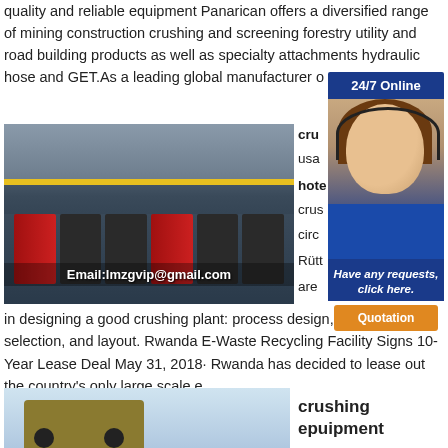quality and reliable equipment Panarican offers a diversified range of mining construction crushing and screening forestry utility and road building products as well as specialty attachments hydraulic hose and GET.As a leading global manufacturer o
[Figure (photo): Factory interior showing industrial machinery and equipment. Text overlay: Email:lmzgvip@gmail.com]
cru
usa
hote
crus
circ
Rütt
are
[Figure (infographic): 24/7 Online customer service banner with photo of woman wearing headset. Blue background. 'Have any requests, click here.' text and orange 'Quotation' button.]
in designing a good crushing plant: process design, equipment selection, and layout. Rwanda E-Waste Recycling Facility Signs 10-Year Lease Deal May 31, 2018· Rwanda has decided to lease out the country's only large scale e.
[Figure (photo): Crushing equipment machinery on light blue background]
crushing epuipment